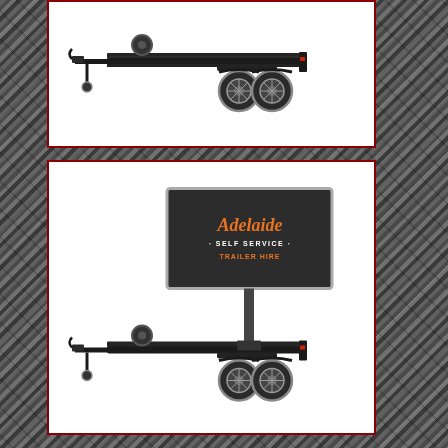[Figure (illustration): Black flatbed trailer (car trailer) with dual rear wheels and a front jockey wheel, viewed from the side against a white background, displayed in a white card with dark red border on a diamond plate metal background.]
[Figure (illustration): Black flatbed trailer with a large billboard sign on top displaying 'Adelaide Self Service Trailer Hire' branding in orange and white text on a dark background. The trailer has dual rear wheels and a front jockey wheel. Displayed in a white card with dark red border on a diamond plate metal background.]